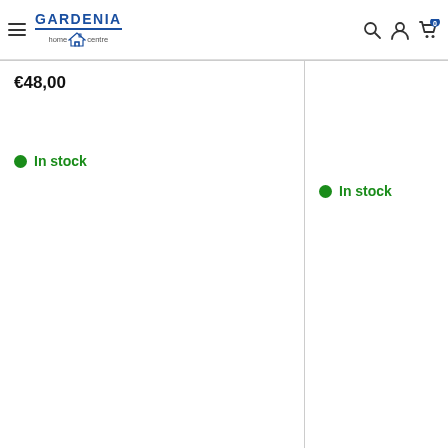Gardenia Home Centre — Navigation header with logo, hamburger menu, search, account, and cart icons
€48,00
In stock
In stock